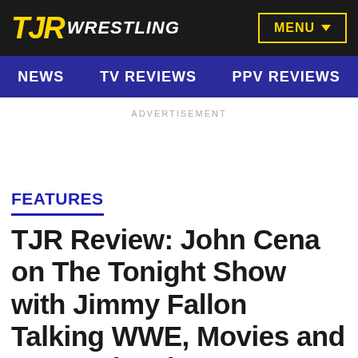TJR WRESTLING
MENU
NEWS  TV REVIEWS  PPV REVIEWS
ADVERTISEMENT
FEATURES
TJR Review: John Cena on The Tonight Show with Jimmy Fallon Talking WWE, Movies and "Ew!" Sketch